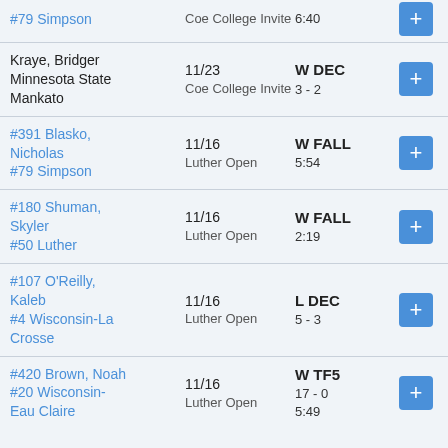| Opponent | Date / Tournament | Result |  |
| --- | --- | --- | --- |
| #79 Simpson | Coe College Invite | 6:40 | + |
| Kraye, Bridger
Minnesota State Mankato | 11/23
Coe College Invite | W DEC
3 - 2 | + |
| #391 Blasko, Nicholas
#79 Simpson | 11/16
Luther Open | W FALL
5:54 | + |
| #180 Shuman, Skyler
#50 Luther | 11/16
Luther Open | W FALL
2:19 | + |
| #107 O'Reilly, Kaleb
#4 Wisconsin-La Crosse | 11/16
Luther Open | L DEC
5 - 3 | + |
| #420 Brown, Noah
#20 Wisconsin-Eau Claire | 11/16
Luther Open | W TF5
17 - 0
5:49 | + |